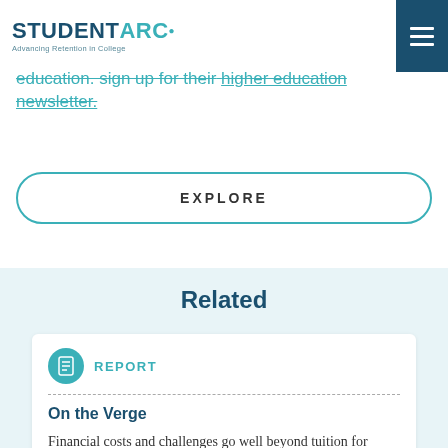STUDENT ARC - Advancing Retention in College
education. sign up for their higher education newsletter.
EXPLORE
Related
REPORT
On the Verge
Financial costs and challenges go well beyond tuition for lower income students who want to stay in school and succeed.